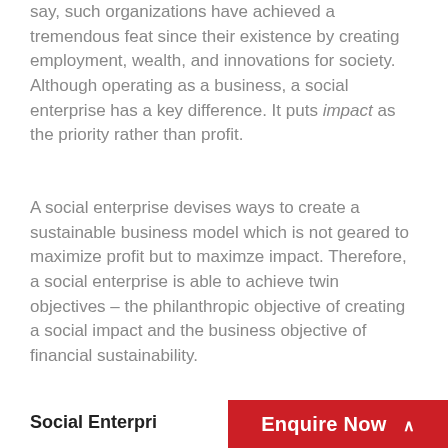say, such organizations have achieved a tremendous feat since their existence by creating employment, wealth, and innovations for society. Although operating as a business, a social enterprise has a key difference. It puts impact as the priority rather than profit.
A social enterprise devises ways to create a sustainable business model which is not geared to maximize profit but to maximze impact. Therefore, a social enterprise is able to achieve twin objectives – the philanthropic objective of creating a social impact and the business objective of financial sustainability.
Social Enterpri...